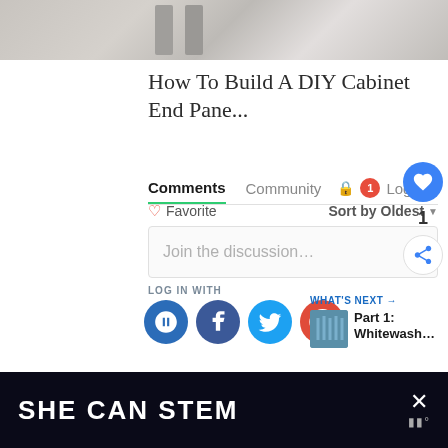[Figure (photo): Partial view of kitchen cabinet in gray/beige tones]
How To Build A DIY Cabinet End Pane...
Comments  Community  🔒  1  Login ▾
♡ Favorite    Sort by Oldest ▾
Join the discussion...
LOG IN WITH
[Figure (logo): Social login icons: Disqus, Facebook, Twitter, Google]
WHAT'S NEXT →  Part 1: Whitewash...
SHE CAN STEM